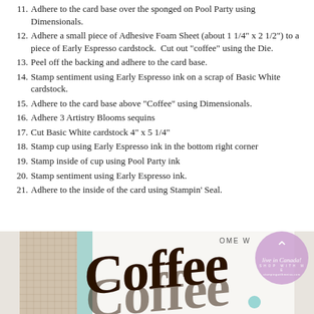11. Adhere to the card base over the sponged on Pool Party using Dimensionals.
12. Adhere a small piece of Adhesive Foam Sheet (about 1 1/4" x 2 1/2") to a piece of Early Espresso cardstock.  Cut out "coffee" using the Die.
13. Peel off the backing and adhere to the card base.
14. Stamp sentiment using Early Espresso ink on a scrap of Basic White cardstock.
15. Adhere to the card base above "Coffee" using Dimensionals.
16. Adhere 3 Artistry Blooms sequins
17. Cut Basic White cardstock 4" x 5 1/4"
18. Stamp cup using Early Espresso ink in the bottom right corner
19. Stamp inside of cup using Pool Party ink
20. Stamp sentiment using Early Espresso ink.
21. Adhere to the inside of the card using Stampin' Seal.
[Figure (photo): Photo of a handmade card featuring dark brown script 'Coffee' die-cut on white cardstock, with teal and burlap elements. Overlaid with a purple circular watermark logo reading 'live in Canada! Shop with me stampingwithmeisa.com' and a teal bead embellishment.]